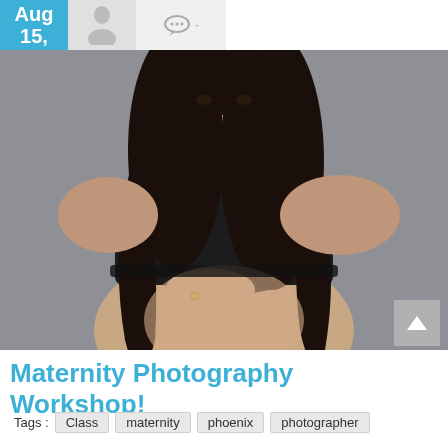Aug 15,
[Figure (photo): Pregnant woman with long dark curly hair, wearing a black crop top, holding her bare baby bump with one hand showing a ring, against a grey studio background]
Maternity Photography Workshop!
Tags :  Class  maternity  phoenix  photographer